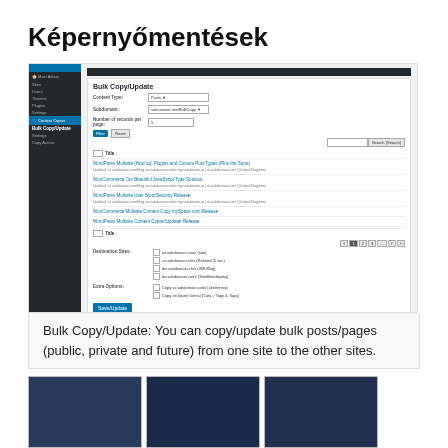Képernyőmentések
[Figure (screenshot): WordPress admin panel showing Bulk Copy/Update page with Content Copier plugin, displaying fields for Content Type, Subdomain, Number of records per page, a list of posts to copy, destination sites checkboxes, and copy options.]
Bulk Copy/Update: You can copy/update bulk posts/pages (public, private and future) from one site to the other sites.
[Figure (screenshot): Three small thumbnail screenshots of WordPress admin pages shown side by side at the bottom of the page.]